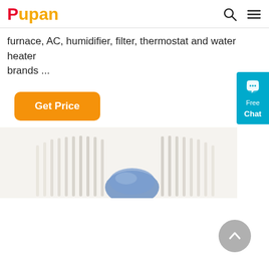Pupan
furnace, AC, humidifier, filter, thermostat and water heater brands ...
Get Price
[Figure (screenshot): Partial view of a humidifier product image with white filter fins and a blue water globe on a light beige background]
[Figure (other): Blue chat widget with speech bubble icon, Free Chat label on the right side]
[Figure (other): Gray circular back-to-top arrow button at the bottom right]